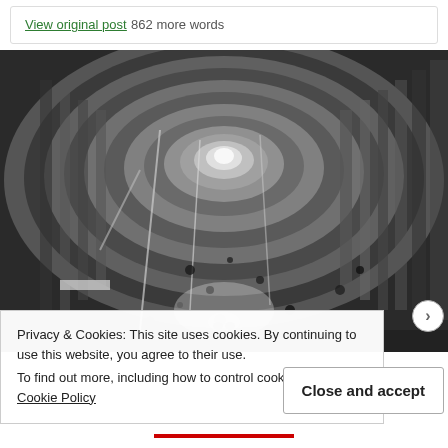View original post 862 more words
[Figure (photo): Black and white photograph of the interior of a large circular tunnel or pipe, showing concentric rings receding to a bright opening in the center. The walls appear wet or damaged with streaks and spots. A face-like pattern is visible in the lower center portion.]
Privacy & Cookies: This site uses cookies. By continuing to use this website, you agree to their use.
To find out more, including how to control cookies, see here: Cookie Policy
Close and accept